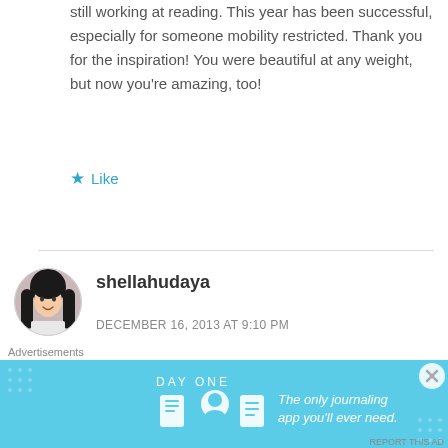still working at reading. This year has been successful, especially for someone mobility restricted. Thank you for the inspiration! You were beautiful at any weight, but now you're amazing, too!
★ Like
[Figure (photo): Circular avatar photo of shellahudaya, a young woman with long dark hair, smiling]
shellahudaya
DECEMBER 16, 2013 AT 9:10 PM
Inspiring! 🙂
Advertisements
[Figure (screenshot): DAY ONE app advertisement banner — 'The only journaling app you'll ever need.' with illustrated icons on a blue background]